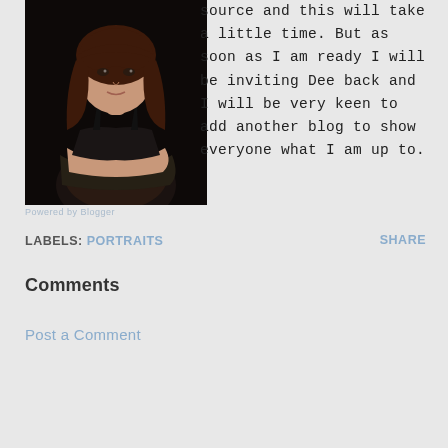[Figure (photo): Portrait photo of a young woman with dark reddish-brown hair and bangs, wearing a black top, arms crossed, against a dark/black background.]
source and this will take a little time. But as soon as I am ready I will be inviting Dee back and I will be very keen to add another blog to show everyone what I am up to.
LABELS: PORTRAITS    SHARE
Comments
Post a Comment